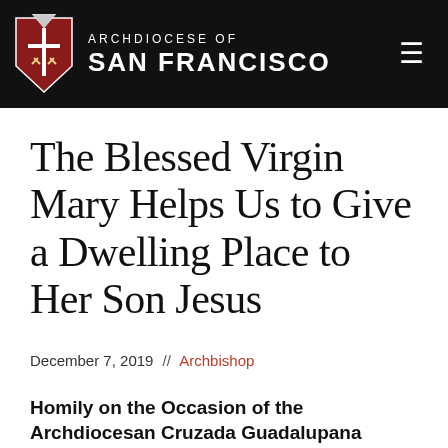ARCHDIOCESE OF SAN FRANCISCO
The Blessed Virgin Mary Helps Us to Give a Dwelling Place to Her Son Jesus
December 7, 2019 // Archbishop
Homily on the Occasion of the Archdiocesan Cruzada Guadalupana